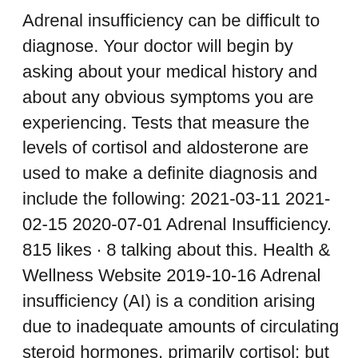Adrenal insufficiency can be difficult to diagnose. Your doctor will begin by asking about your medical history and about any obvious symptoms you are experiencing. Tests that measure the levels of cortisol and aldosterone are used to make a definite diagnosis and include the following: 2021-03-11 2021-02-15 2020-07-01 Adrenal Insufficiency. 815 likes · 8 talking about this. Health & Wellness Website 2019-10-16 Adrenal insufficiency (AI) is a condition arising due to inadequate amounts of circulating steroid hormones, primarily cortisol; but may also include impaired production of aldosterone (a mineralocorticoid), which regulates sodium conservation, potassium secretion, and water retention. It occurs due to adrenal gland dysfunction, and primary management is corticosteroid supplementation. ... Adrenal